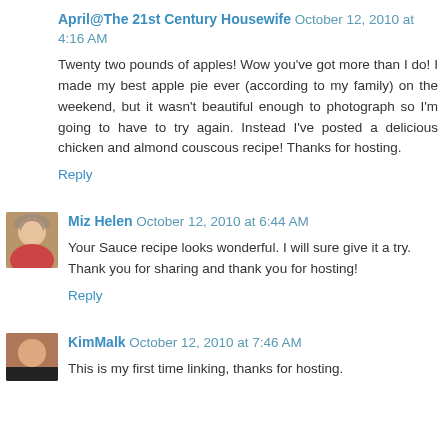April@The 21st Century Housewife  October 12, 2010 at 4:16 AM
Twenty two pounds of apples! Wow you've got more than I do! I made my best apple pie ever (according to my family) on the weekend, but it wasn't beautiful enough to photograph so I'm going to have to try again. Instead I've posted a delicious chicken and almond couscous recipe! Thanks for hosting.
Reply
Miz Helen  October 12, 2010 at 6:44 AM
Your Sauce recipe looks wonderful. I will sure give it a try. Thank you for sharing and thank you for hosting!
Reply
KimMalk  October 12, 2010 at 7:46 AM
This is my first time linking, thanks for hosting.